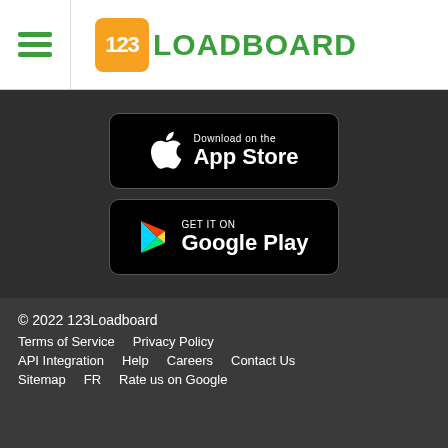123 LOADBOARD
[Figure (logo): 123Loadboard logo with orange rounded square badge showing '123' and green text 'LOADBOARD']
[Figure (illustration): Download on the App Store badge (black rounded rectangle with Apple icon)]
[Figure (illustration): Get it on Google Play badge (black rounded rectangle with Google Play triangle icon)]
© 2022 123Loadboard
Terms of Service   Privacy Policy
API Integration   Help   Careers   Contact Us
Sitemap   FR   Rate us on Google